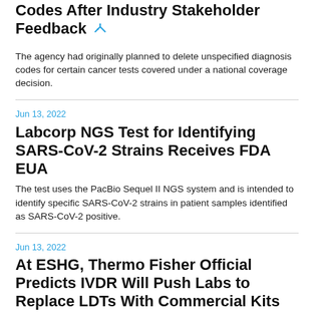Codes After Industry Stakeholder Feedback
The agency had originally planned to delete unspecified diagnosis codes for certain cancer tests covered under a national coverage decision.
Jun 13, 2022
Labcorp NGS Test for Identifying SARS-CoV-2 Strains Receives FDA EUA
The test uses the PacBio Sequel II NGS system and is intended to identify specific SARS-CoV-2 strains in patient samples identified as SARS-CoV-2 positive.
Jun 13, 2022
At ESHG, Thermo Fisher Official Predicts IVDR Will Push Labs to Replace LDTs With Commercial Kits
Europe's new In Vitro Diagnostic Regulation is reshaping the way that laboratories in the region use in-house assays for diagnostics.